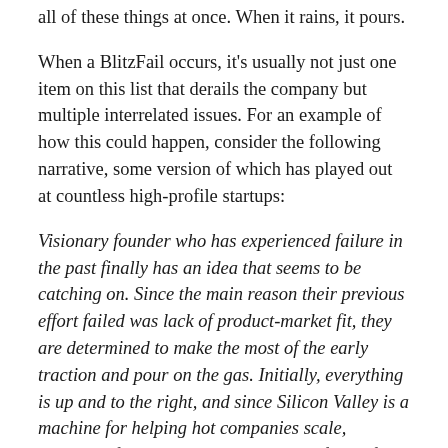all of these things at once. When it rains, it pours.
When a BlitzFail occurs, it's usually not just one item on this list that derails the company but multiple interrelated issues. For an example of how this could happen, consider the following narrative, some version of which has played out at countless high-profile startups:
Visionary founder who has experienced failure in the past finally has an idea that seems to be catching on. Since the main reason their previous effort failed was lack of product-market fit, they are determined to make the most of the early traction and pour on the gas. Initially, everything is up and to the right, and since Silicon Valley is a machine for helping hot companies scale, resources flock to this company in the form of venture capital and employees.